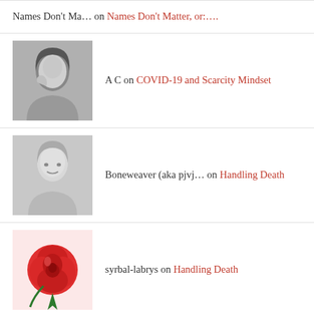Names Don't Ma… on Names Don't Matter, or:….
A C on COVID-19 and Scarcity Mindset
Boneweaver (aka pjvj… on Handling Death
syrbal-labrys on Handling Death
Just another WordPre… on SJWW (Social Justice Warrior W…
Help keep the Work moving outward
[Figure (other): Yellow PayPal Donate button]